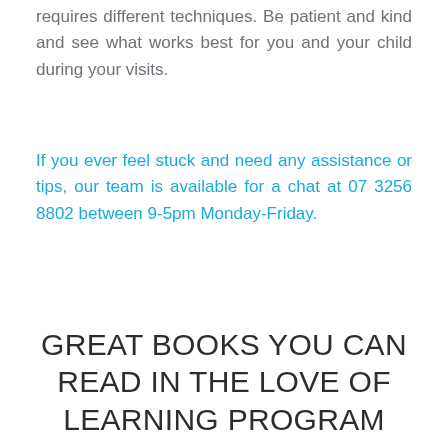requires different techniques. Be patient and kind and see what works best for you and your child during your visits.
If you ever feel stuck and need any assistance or tips, our team is available for a chat at 07 3256 8802 between 9-5pm Monday-Friday.
GREAT BOOKS YOU CAN READ IN THE LOVE OF LEARNING PROGRAM